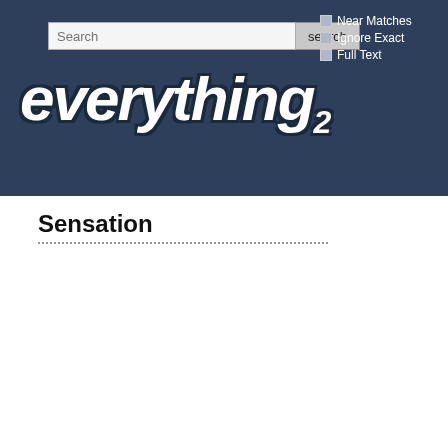[Figure (screenshot): Everything2 website header banner with dark blue background, search bar, search button, checkboxes for Near Matches/Ignore Exact/Full Text, and the Everything2 logo in white italic bold text]
Sensation
(idea) by Spasemunki  Fri May 19 2000 at 1:04:59
In Buddhism, sensation is one of the Five Aggregates:
form
sensation
conception